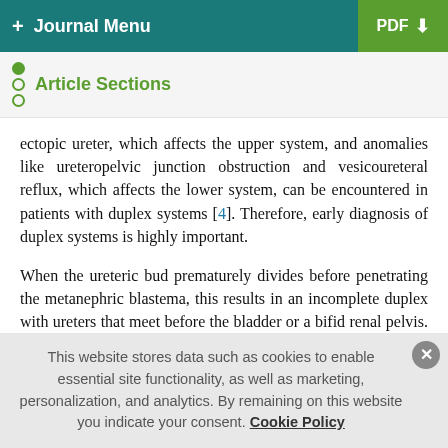+ Journal Menu | PDF
Article Sections
ectopic ureter, which affects the upper system, and anomalies like ureteropelvic junction obstruction and vesicoureteral reflux, which affects the lower system, can be encountered in patients with duplex systems [4]. Therefore, early diagnosis of duplex systems is highly important.
When the ureteric bud prematurely divides before penetrating the metanephric blastema, this results in an incomplete duplex with ureters that meet before the bladder or a bifid renal pelvis. If more than one ureteric bud develops and migrates to the metanephric blastema, a duplex kidney with two separate ureters
This website stores data such as cookies to enable essential site functionality, as well as marketing, personalization, and analytics. By remaining on this website you indicate your consent. Cookie Policy